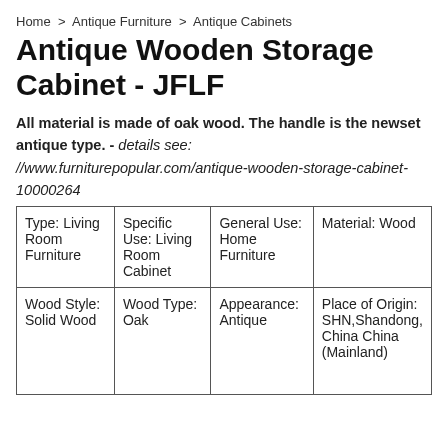Home > Antique Furniture > Antique Cabinets
Antique Wooden Storage Cabinet - JFLF
All material is made of oak wood. The handle is the newset antique type. - details see: //www.furniturepopular.com/antique-wooden-storage-cabinet-10000264
| Type: Living Room Furniture | Specific Use: Living Room Cabinet | General Use: Home Furniture | Material: Wood |
| Wood Style: Solid Wood | Wood Type: Oak | Appearance: Antique | Place of Origin: SHN,Shandong, China China (Mainland) |